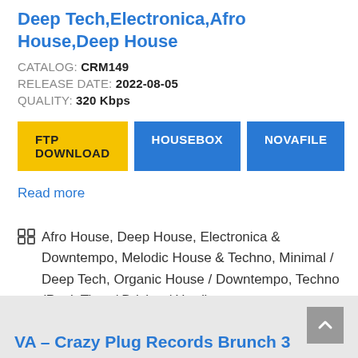Deep Tech,Electronica,Afro House,Deep House
CATALOG: CRM149
RELEASE DATE: 2022-08-05
QUALITY: 320 Kbps
FTP DOWNLOAD | HOUSEBOX | NOVAFILE
Read more
Afro House, Deep House, Electronica & Downtempo, Melodic House & Techno, Minimal / Deep Tech, Organic House / Downtempo, Techno (Peak Time / Driving / Hard)
VA – Crazy Plug Records Brunch 3